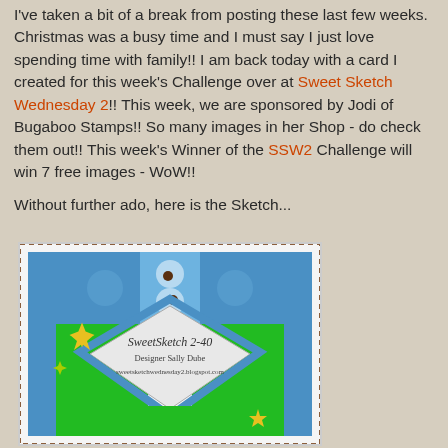I've taken a bit of a break from posting these last few weeks.  Christmas was a busy time and I must say I just love spending time with family!!  I am back today with a card I created for this week's Challenge over at Sweet Sketch Wednesday 2!!  This week, we are sponsored by Jodi of Bugaboo Stamps!!  So many images in her Shop - do check them out!!  This week's Winner of the SSW2 Challenge will win 7 free images - WoW!!
Without further ado, here is the Sketch...
[Figure (illustration): Card sketch image labeled SweetSketch 2-40, Designer Sally Dube, sweetsketchwednesday2.blogspot.com. Shows a card design with green background, blue border with decorative pattern, white diamond in center, and yellow star/sun embellishments.]